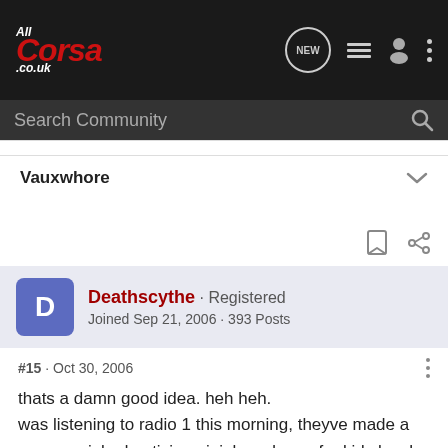AllCorsa.co.uk - navigation header with search bar
Vauxwhore
Deathscythe · Registered
Joined Sep 21, 2006 · 393 Posts
#15 · Oct 30, 2006
thats a damn good idea. heh heh.
was listening to radio 1 this morning, theyve made a commercial advertising ninjabread men for kids lunch boxes, made by the same people who brought us samu-rice, i was howling laughing!